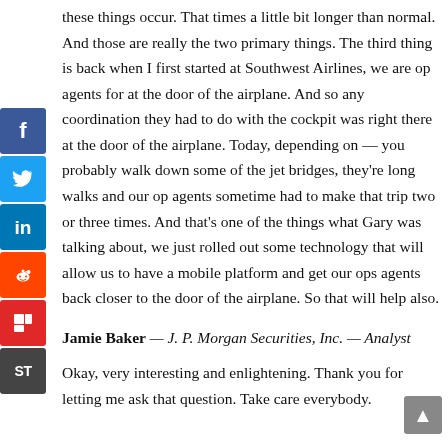these things occur. That times a little bit longer than normal. And those are really the two primary things. The third thing is back when I first started at Southwest Airlines, we are op agents for at the door of the airplane. And so any coordination they had to do with the cockpit was right there at the door of the airplane. Today, depending on — you probably walk down some of the jet bridges, they're long walks and our op agents sometime had to make that trip two or three times. And that's one of the things what Gary was talking about, we just rolled out some technology that will allow us to have a mobile platform and get our ops agents back closer to the door of the airplane. So that will help also.
Jamie Baker — J. P. Morgan Securities, Inc. — Analyst
Okay, very interesting and enlightening. Thank you for letting me ask that question. Take care everybody.